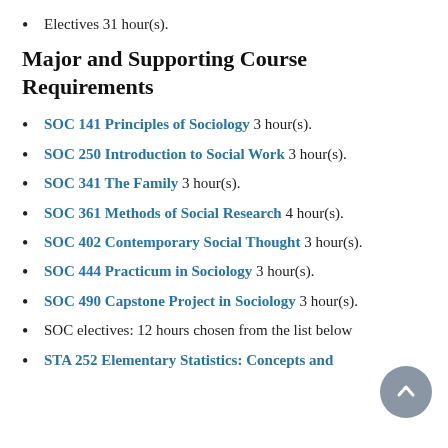Electives 31 hour(s).
Major and Supporting Course Requirements
SOC 141 Principles of Sociology 3 hour(s).
SOC 250 Introduction to Social Work 3 hour(s).
SOC 341 The Family 3 hour(s).
SOC 361 Methods of Social Research 4 hour(s).
SOC 402 Contemporary Social Thought 3 hour(s).
SOC 444 Practicum in Sociology 3 hour(s).
SOC 490 Capstone Project in Sociology 3 hour(s).
SOC electives: 12 hours chosen from the list below
STA 252 Elementary Statistics: Concepts and